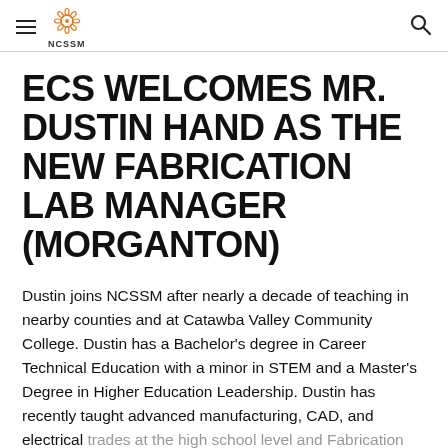NCSSM
ECS WELCOMES MR. DUSTIN HAND AS THE NEW FABRICATION LAB MANAGER (MORGANTON)
Dustin joins NCSSM after nearly a decade of teaching in nearby counties and at Catawba Valley Community College. Dustin has a Bachelor's degree in Career Technical Education with a minor in STEM and a Master's Degree in Higher Education Leadership. Dustin has recently taught advanced manufacturing, CAD, and electrical trades at the high school level and Fabrication